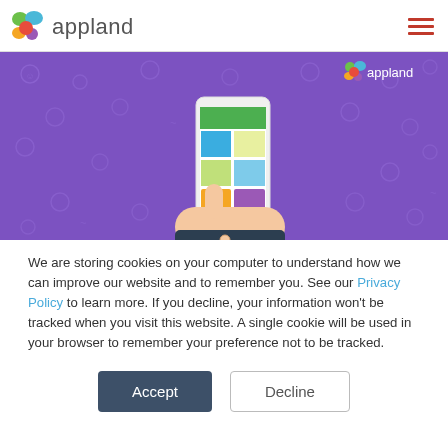appland
[Figure (illustration): Purple banner with decorative coin/emoji pattern background, showing an illustrated hand holding a smartphone displaying app icons, with the Appland logo in top-right corner of the banner.]
We are storing cookies on your computer to understand how we can improve our website and to remember you. See our Privacy Policy to learn more. If you decline, your information won't be tracked when you visit this website. A single cookie will be used in your browser to remember your preference not to be tracked.
Accept
Decline